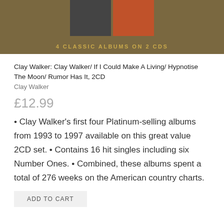[Figure (photo): Album cover image with brown/tan background showing two small thumbnail images and text '4 CLASSIC ALBUMS ON 2 CDS' in gold lettering]
Clay Walker: Clay Walker/ If I Could Make A Living/ Hypnotise The Moon/ Rumor Has It, 2CD
Clay Walker
£12.99
Clay Walker's first four Platinum-selling albums from 1993 to 1997 available on this great value 2CD set. • Contains 16 hit singles including six Number Ones. • Combined, these albums spent a total of 276 weeks on the American country charts.
ADD TO CART